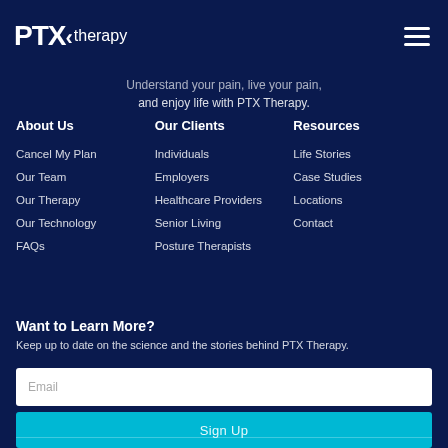[Figure (logo): PTX therapy logo — bold white PTX with arrow chevron and 'therapy' in lighter weight, plus hamburger menu icon on the right]
Understand your pain, live your pain, and enjoy life with PTX Therapy.
About Us
Cancel My Plan
Our Team
Our Therapy
Our Technology
FAQs
Our Clients
Individuals
Employers
Healthcare Providers
Senior Living
Posture Therapists
Resources
Life Stories
Case Studies
Locations
Contact
Want to Learn More?
Keep up to date on the science and the stories behind PTX Therapy.
Email
Sign Up